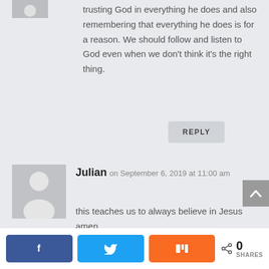trusting God in everything he does and also remembering that everything he does is for a reason. We should follow and listen to God even when we don't think it's the right thing.
REPLY
Julian on September 6, 2019 at 11:00 am
this teaches us to always believe in Jesus amen.
REPLY
[Figure (infographic): Social share bar with Facebook, Twitter, and Mix buttons plus a share count of 0 SHARES]